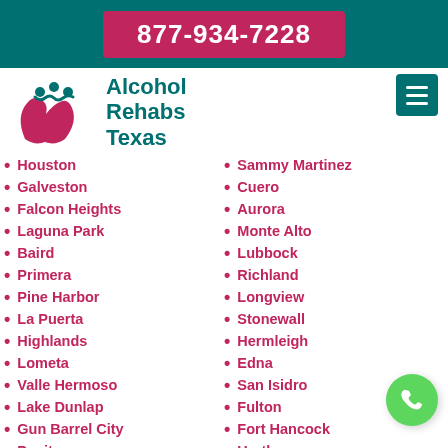877-934-7228
[Figure (logo): Alcohol Rehabs Texas logo with pink hands and teal figures]
Alcohol Rehabs Texas
Houston
Galveston
Falcon Heights
Laguna Park
Baird
Primera
Pine Harbor
La Puerta
Highlands
Lometa
Valle Hermoso
Lake Dunlap
Gun Barrel City
Penitas
Sammy Martinez
Cuero
Aurora
Monte Alto
Lubbock
Richland
Longview
Stonewall
Hermleigh
Edna
San Isidro
Fulton
Fort Hancock
Hartley